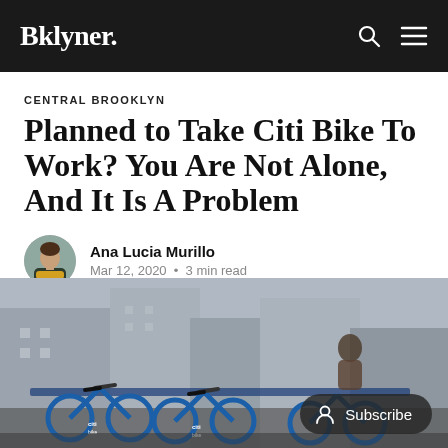Bklyner.
CENTRAL BROOKLYN
Planned to Take Citi Bike To Work? You Are Not Alone, And It Is A Problem
Ana Lucia Murillo
Mar 12, 2020 • 3 min read
[Figure (photo): A row of Citi Bikes parked at a docking station on a city street, with urban buildings visible in the background.]